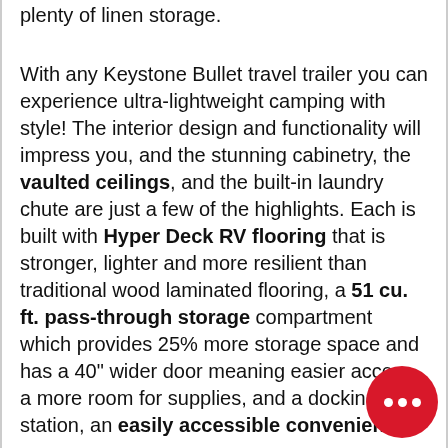plenty of linen storage.
With any Keystone Bullet travel trailer you can experience ultra-lightweight camping with style! The interior design and functionality will impress you, and the stunning cabinetry, the vaulted ceilings, and the built-in laundry chute are just a few of the highlights. Each is built with Hyper Deck RV flooring that is stronger, lighter and more resilient than traditional wood laminated flooring, a 51 cu. ft. pass-through storage compartment which provides 25% more storage space and has a 40" wider door meaning easier access and more room for supplies, and a docking station, an easily accessible convenience